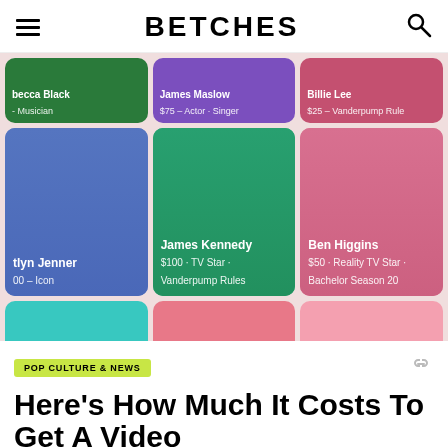BETCHES
[Figure (screenshot): Celebrity grid from Cameo app showing Rebecca Black (Musician), James Maslow ($75 - Actor - Singer), Billie Lee ($25 - Vanderpump Rules), Caitlyn Jenner ($100 - Icon), James Kennedy ($100 - TV Star - Vanderpump Rules), Ben Higgins ($50 - Reality TV Star - Bachelor Season 20), and three partially visible bottom cards]
POP CULTURE & NEWS
Here's How Much It Costs To Get A Video